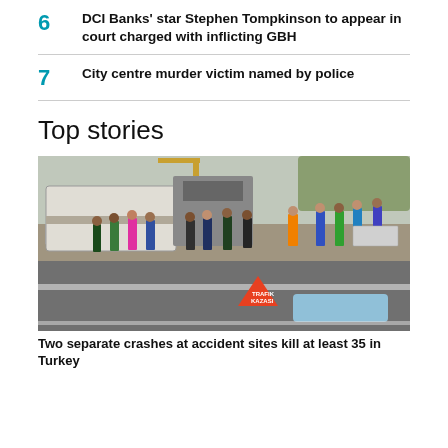6  DCI Banks' star Stephen Tompkinson to appear in court charged with inflicting GBH
7  City centre murder victim named by police
Top stories
[Figure (photo): Crash scene on a road in Turkey with overturned bus, emergency responders, a red triangular traffic hazard sign reading TRAFIK KAZASI, and a body covered with a blue sheet on the road]
Two separate crashes at accident sites kill at least 35 in Turkey